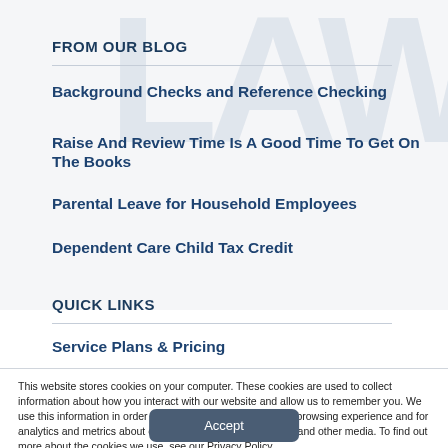FROM OUR BLOG
Background Checks and Reference Checking
Raise And Review Time Is A Good Time To Get On The Books
Parental Leave for Household Employees
Dependent Care Child Tax Credit
QUICK LINKS
Service Plans & Pricing
This website stores cookies on your computer. These cookies are used to collect information about how you interact with our website and allow us to remember you. We use this information in order to improve and customize your browsing experience and for analytics and metrics about our visitors both on this website and other media. To find out more about the cookies we use, see our Privacy Policy.
Accept